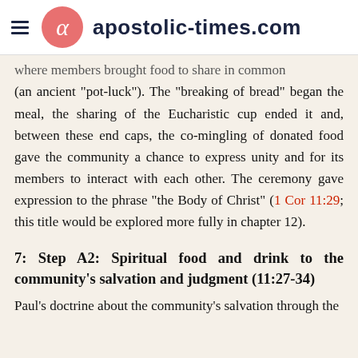apostolic-times.com
where members brought food to share in common (an ancient "pot-luck"). The "breaking of bread" began the meal, the sharing of the Eucharistic cup ended it and, between these end caps, the comingling of donated food gave the community a chance to express unity and for its members to interact with each other. The ceremony gave expression to the phrase "the Body of Christ" (1 Cor 11:29; this title would be explored more fully in chapter 12).
7: Step A2: Spiritual food and drink to the community's salvation and judgment (11:27-34)
Paul's doctrine about the community's salvation through the